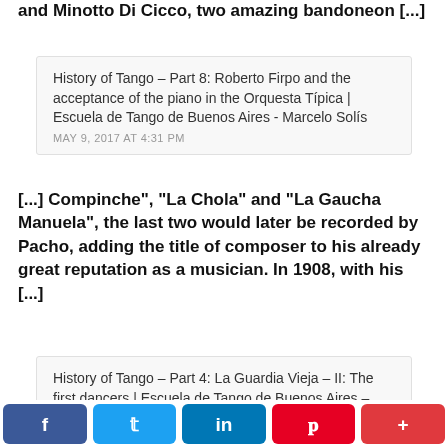and Minotto Di Cicco, two amazing bandoneon [...]
History of Tango – Part 8: Roberto Firpo and the acceptance of the piano in the Orquesta Típica | Escuela de Tango de Buenos Aires - Marcelo Solís
MAY 9, 2017 AT 4:31 PM
[...] Compinche", "La Chola" and "La Gaucha Manuela", the last two would later be recorded by Pacho, adding the title of composer to his already great reputation as a musician. In 1908, with his [...]
History of Tango – Part 4: La Guardia Vieja – II: The first dancers | Escuela de Tango de Buenos Aires - Marcelo Solís